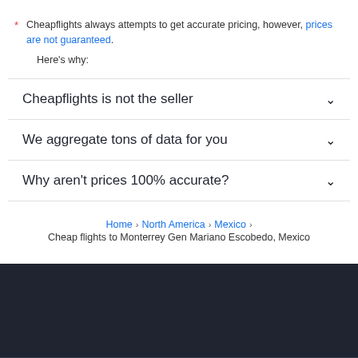* Cheapflights always attempts to get accurate pricing, however, prices are not guaranteed. Here's why:
Cheapflights is not the seller
We aggregate tons of data for you
Why aren't prices 100% accurate?
Home > North America > Mexico > Cheap flights to Monterrey Gen Mariano Escobedo, Mexico